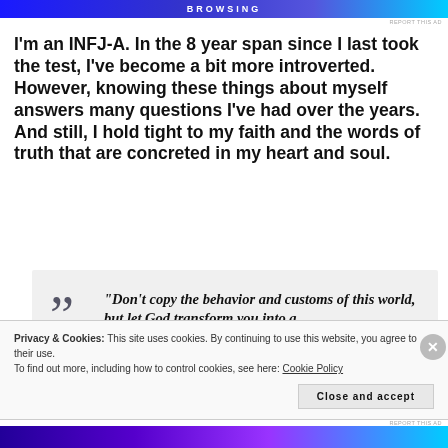BROWSING
I'm an INFJ-A. In the 8 year span since I last took the test, I've become a bit more introverted. However, knowing these things about myself answers many questions I've had over the years. And still, I hold tight to my faith and the words of truth that are concreted in my heart and soul.
“Don’t copy the behavior and customs of this world, but let God transform you into a new person by changing the way you think
Privacy & Cookies: This site uses cookies. By continuing to use this website, you agree to their use.
To find out more, including how to control cookies, see here: Cookie Policy
Close and accept